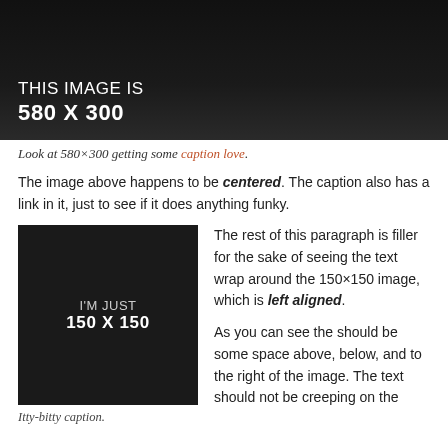[Figure (illustration): Dark banner image showing text 'THIS IMAGE IS 580 X 300' in white on dark background]
Look at 580×300 getting some caption love.
The image above happens to be centered. The caption also has a link in it, just to see if it does anything funky.
[Figure (illustration): Dark square image showing text 'I'M JUST 150 X 150' in white on dark background]
Itty-bitty caption.
The rest of this paragraph is filler for the sake of seeing the text wrap around the 150×150 image, which is left aligned.
As you can see the should be some space above, below, and to the right of the image. The text should not be creeping on the